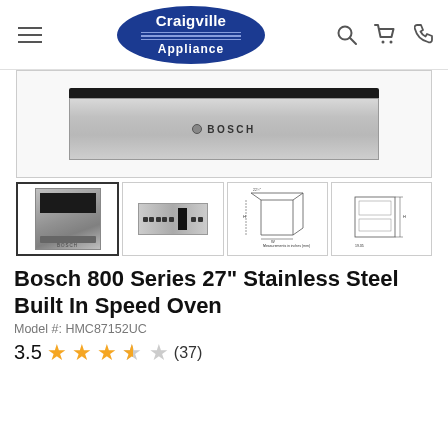Craigville Appliance — navigation header with logo, search, cart, and phone icons
[Figure (photo): Bosch stainless steel built-in speed oven, front panel view showing black control strip at top and BOSCH logo on center panel]
[Figure (photo): Thumbnail 1: Front view of Bosch 800 Series speed oven with control display]
[Figure (photo): Thumbnail 2: Close-up of Bosch oven control panel with buttons and display screen]
[Figure (engineering-diagram): Thumbnail 3: Dimensional diagram of oven showing measurements in inches and millimeters]
[Figure (engineering-diagram): Thumbnail 4: Side/cutaway engineering diagram of oven with measurements]
Bosch 800 Series 27" Stainless Steel Built In Speed Oven
Model #: HMC87152UC
3.5 ★★★★☆ (37)